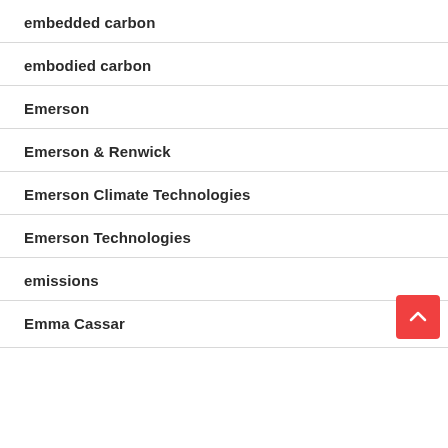embedded carbon
embodied carbon
Emerson
Emerson & Renwick
Emerson Climate Technologies
Emerson Technologies
emissions
Emma Cassar